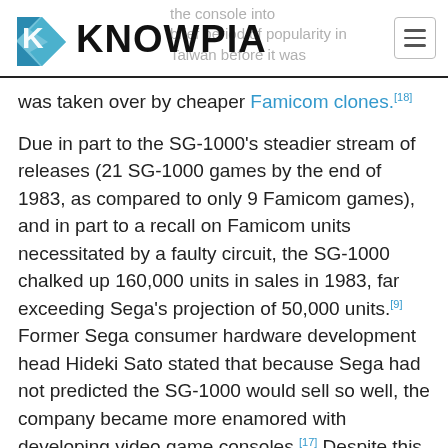KNOWPIA
was taken over by cheaper Famicom clones.[18]
Due in part to the SG-1000's steadier stream of releases (21 SG-1000 games by the end of 1983, as compared to only 9 Famicom games), and in part to a recall on Famicom units necessitated by a faulty circuit, the SG-1000 chalked up 160,000 units in sales in 1983, far exceeding Sega's projection of 50,000 units.[9] Former Sega consumer hardware development head Hideki Sato stated that because Sega had not predicted the SG-1000 would sell so well, the company became more enamored with developing video game consoles.[17] Despite this three launch games, all of which were ported from Sega's VIC dual-arcade board, lacked the name